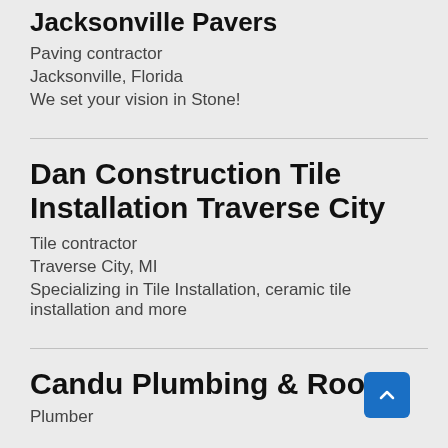Jacksonville Pavers
Paving contractor
Jacksonville, Florida
We set your vision in Stone!
Dan Construction Tile Installation Traverse City
Tile contractor
Traverse City, MI
Specializing in Tile Installation, ceramic tile installation and more
Candu Plumbing & Rooter
Plumber